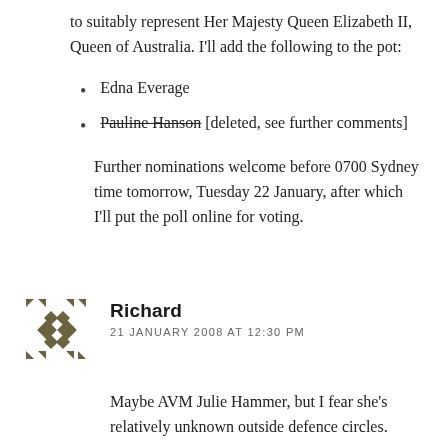to suitably represent Her Majesty Queen Elizabeth II, Queen of Australia. I'll add the following to the pot:
Edna Everage
Pauline Hanson [deleted, see further comments]
Further nominations welcome before 0700 Sydney time tomorrow, Tuesday 22 January, after which I'll put the poll online for voting.
[Figure (illustration): Decorative avatar icon made of diamond shapes in dark gray/olive color, arranged in a cross/flower pattern with corner accent marks]
Richard
21 JANUARY 2008 AT 12:30 PM
Maybe AVM Julie Hammer, but I fear she's relatively unknown outside defence circles.